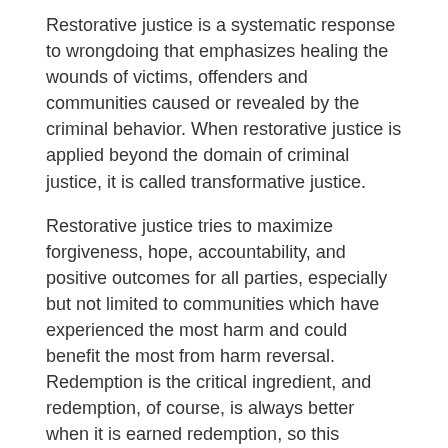Restorative justice is a systematic response to wrongdoing that emphasizes healing the wounds of victims, offenders and communities caused or revealed by the criminal behavior. When restorative justice is applied beyond the domain of criminal justice, it is called transformative justice.
Restorative justice tries to maximize forgiveness, hope, accountability, and positive outcomes for all parties, especially but not limited to communities which have experienced the most harm and could benefit the most from harm reversal. Redemption is the critical ingredient, and redemption, of course, is always better when it is earned redemption, so this philosophical approach is not necessarily tied to an apology-based perspective.
PETA bowed under pressure from ‘offended’ people and apologized/withdrew the ‘Holocaust On Your Plate’ campaign, which I think was regretful. It has been made clear that the exploitation and murder of disempowered groups (Jews/animals) by dominating groups (Nazis/humans) may be stopped through eliminating hierarchies of power. Jewish people thought that they